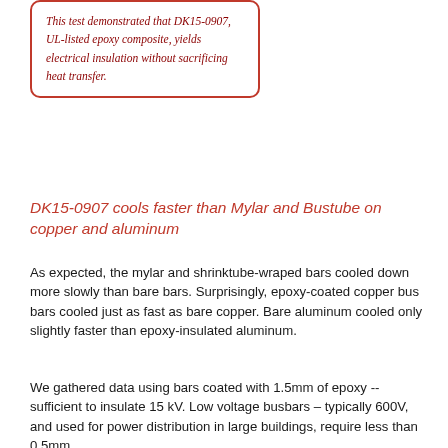This test demonstrated that DK15-0907, UL-listed epoxy composite, yields electrical insulation without sacrificing heat transfer.
DK15-0907 cools faster than Mylar and Bustube on copper and aluminum
As expected, the mylar and shrinktube-wraped bars cooled down more slowly than bare bars. Surprisingly, epoxy-coated copper bus bars cooled just as fast as bare copper. Bare aluminum cooled only slightly faster than epoxy-insulated aluminum.
We gathered data using bars coated with 1.5mm of epoxy -- sufficient to insulate 15 kV. Low voltage busbars – typically 600V, and used for power distribution in large buildings, require less than 0.5mm